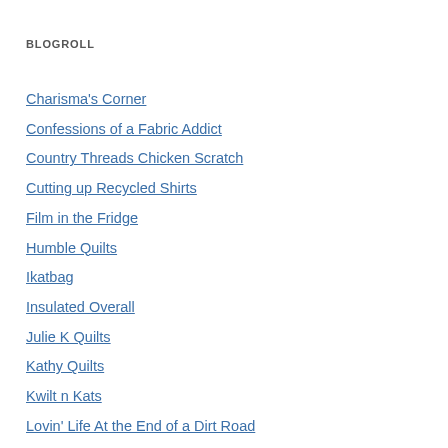BLOGROLL
Charisma's Corner
Confessions of a Fabric Addict
Country Threads Chicken Scratch
Cutting up Recycled Shirts
Film in the Fridge
Humble Quilts
Ikatbag
Insulated Overall
Julie K Quilts
Kathy Quilts
Kwilt n Kats
Lovin' Life At the End of a Dirt Road
Making Learning Fun
Making Learning Fun- The Blog
Mary Margaret's Place
Moo and Me Quilts